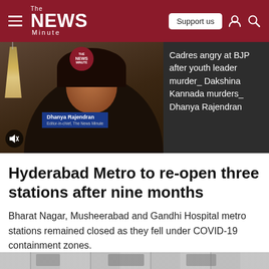The News Minute
[Figure (screenshot): Video thumbnail of Dhanya Rajendran, Editor-in-chief of The News Minute, with a dark background. A muted audio icon is visible bottom left, a News Minute logo circle at top center.]
Cadres angry at BJP after youth leader murder_ Dakshina Kannada murders_ Dhanya Rajendran
Hyderabad Metro to re-open three stations after nine months
Bharat Nagar, Musheerabad and Gandhi Hospital metro stations remained closed as they fell under COVID-19 containment zones.
[Figure (photo): Bottom strip showing a partial view of a metro station.]